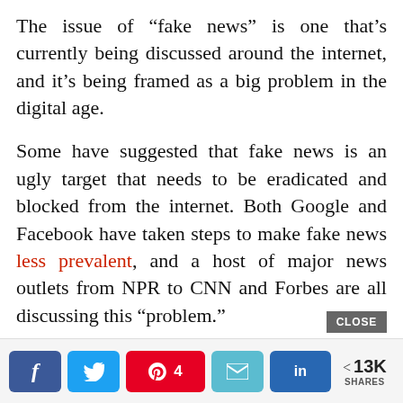The issue of “fake news” is one that’s currently being discussed around the internet, and it’s being framed as a big problem in the digital age.
Some have suggested that fake news is an ugly target that needs to be eradicated and blocked from the internet. Both Google and Facebook have taken steps to make fake news less prevalent, and a host of major news outlets from NPR to CNN and Forbes are all discussing this “problem.”
In many ways, it is a problem. For example, the
[Figure (screenshot): Social share bar with Facebook, Twitter, Pinterest (4 shares), Email, LinkedIn buttons, and a share count showing 13K SHARES]